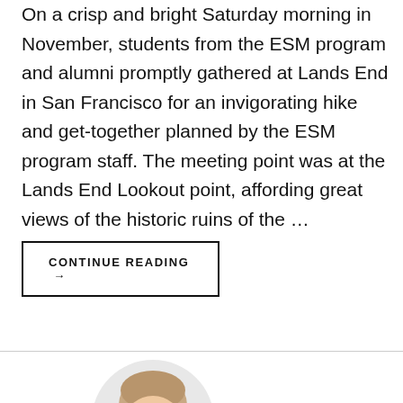On a crisp and bright Saturday morning in November, students from the ESM program and alumni promptly gathered at Lands End in San Francisco for an invigorating hike and get-together planned by the ESM program staff. The meeting point was at the Lands End Lookout point, affording great views of the historic ruins of the ...
CONTINUE READING →
[Figure (photo): Circular portrait photo of a person partially visible at the bottom of the page, showing the top of their head with light brown hair against a white background.]